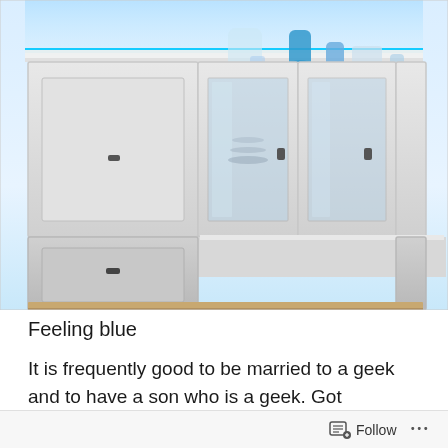[Figure (photo): Kitchen wall cabinets with white shaker-style doors. Blue LED strip lighting glows along the top. Decorative bottles and glassware in blue tones sit on top of the cabinets. Center cabinets have glass panel doors. The setup suggests smart home or LED lighting installation.]
Feeling blue
It is frequently good to be married to a geek and to have a son who is a geek. Got technology? They are always finding the next best thing since sliced bread. Although the final finishing touches are still awaited, there are lights
Follow ···